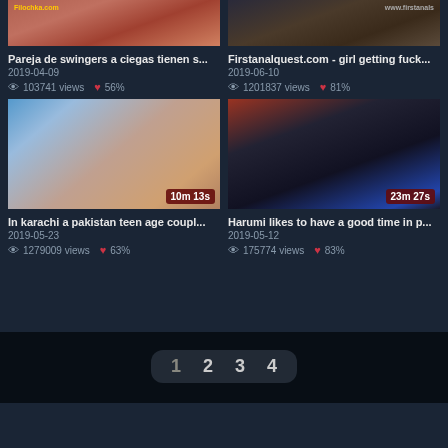[Figure (screenshot): Video thumbnail top left - cropped body image with Filochka.com watermark]
Pareja de swingers a ciegas tienen s...
2019-04-09
103741 views  56%
[Figure (screenshot): Video thumbnail top right - dark scene with www.firstanals watermark]
Firstanalquest.com - girl getting fuck...
2019-06-10
1201837 views  81%
[Figure (screenshot): Video thumbnail bottom left - blue and skin tones, duration 10m 13s]
In karachi a pakistan teen age coupl...
2019-05-23
1279009 views  63%
[Figure (screenshot): Video thumbnail bottom right - woman in dark setting, duration 23m 27s]
Harumi likes to have a good time in p...
2019-05-12
175774 views  83%
1  2  3  4